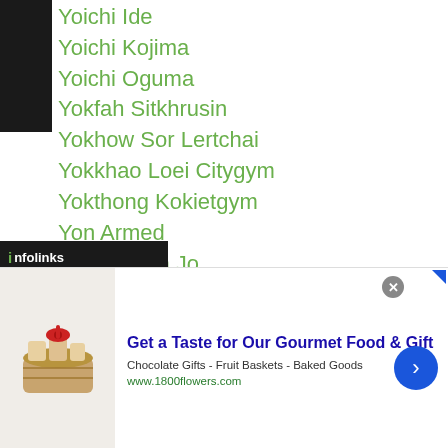Yoichi Ide
Yoichi Kojima
Yoichi Oguma
Yokfah Sitkhrusin
Yokhow Sor Lertchai
Yokkhao Loei Citygym
Yokthong Kokietgym
Yon Armed
Yong Hwan Jo
Yong Soo Kim
Yoon Ho Joo
Yoon Joo Shin
Yoon Soo Ahn
Yosf Moxamad
Yoshiaki Inoue
Yoshifumi Tamaki
...ru Tanaka
[Figure (infographic): Infolinks ad network banner overlay and a 1800flowers.com advertisement banner at the bottom of the page]